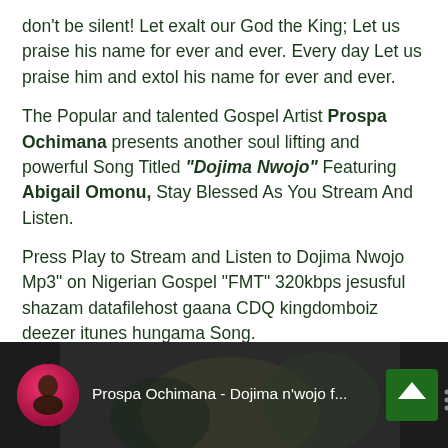don't be silent! Let exalt our God the King; Let us praise his name for ever and ever. Every day Let us praise him and extol his name for ever and ever.
The Popular and talented Gospel Artist Prospa Ochimana presents another soul lifting and powerful Song Titled "Dojima Nwojo" Featuring Abigail Omonu, Stay Blessed As You Stream And Listen.
Press Play to Stream and Listen to Dojima Nwojo Mp3" on Nigerian Gospel "FMT" 320kbps jesusful shazam datafilehost gaana CDQ kingdomboiz deezer itunes hungama Song.
Watch video below.
[Figure (screenshot): Video thumbnail showing Prospa Ochimana - Dojima n'wojo f... with a circular avatar photo on dark background with background image of performers]